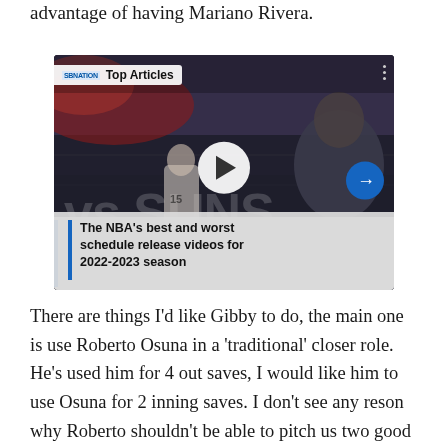advantage of having Mariano Rivera.
[Figure (screenshot): Video card from SBNation showing 'Top Articles' heading. Basketball game footage in background showing players and 'vs SUNS' text. Large white play button in center. Blue circular arrow button on right. Caption at bottom reads 'The NBA's best and worst schedule release videos for 2022-2023 season' with blue left border bar.]
There are things I'd like Gibby to do, the main one is use Roberto Osuna in a 'traditional' closer role. He's used him for 4 out saves, I would like him to use Osuna for 2 inning saves. I don't see any reson why Roberto shouldn't be able to pitch us two good innings